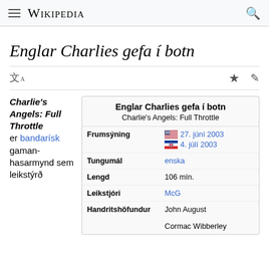Wikipedia
Englar Charlies gefa í botn
|  |  |
| --- | --- |
| Englar Charlies gefa í botn |  |
| Charlie's Angels: Full Throttle |  |
| Frumsýning | 🇺🇸 27. júní 2003 🇮🇸 4. júlí 2003 |
| Tungumál | enska |
| Lengd | 106 mín. |
| Leikstjóri | McG |
| Handritshöfundur | John August
Cormac Wibberley |
Charlie's Angels: Full Throttle er bandarísk gaman-hasarmynd sem leikstýrð